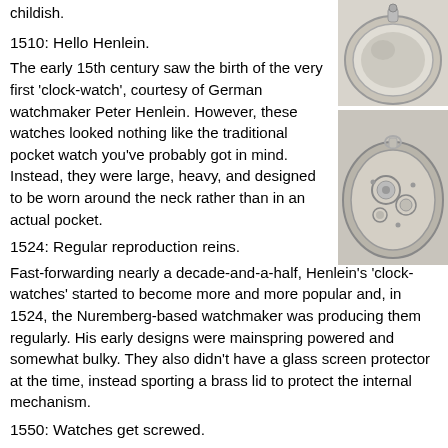childish.
[Figure (photo): Top-down view of a closed pocket watch, silver/metallic case]
1510: Hello Henlein.
[Figure (photo): Open pocket watch showing internal mechanism/gears]
The early 15th century saw the birth of the very first 'clock-watch', courtesy of German watchmaker Peter Henlein. However, these watches looked nothing like the traditional pocket watch you've probably got in mind. Instead, they were large, heavy, and designed to be worn around the neck rather than in an actual pocket.
1524: Regular reproduction reins.
Fast-forwarding nearly a decade-and-a-half, Henlein's 'clock-watches' started to become more and more popular and, in 1524, the Nuremberg-based watchmaker was producing them regularly. His early designs were mainspring powered and somewhat bulky. They also didn't have a glass screen protector at the time, instead sporting a brass lid to protect the internal mechanism.
1550: Watches get screwed.
Up to the mid-15th century, Henlein's watches had been held